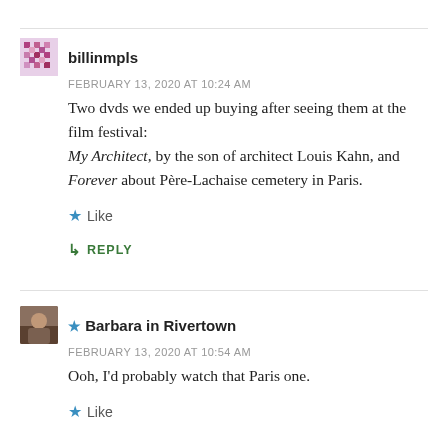billinmpls
FEBRUARY 13, 2020 AT 10:24 AM
Two dvds we ended up buying after seeing them at the film festival:
My Architect, by the son of architect Louis Kahn, and Forever about Père-Lachaise cemetery in Paris.
Like
REPLY
★ Barbara in Rivertown
FEBRUARY 13, 2020 AT 10:54 AM
Ooh, I'd probably watch that Paris one.
Like